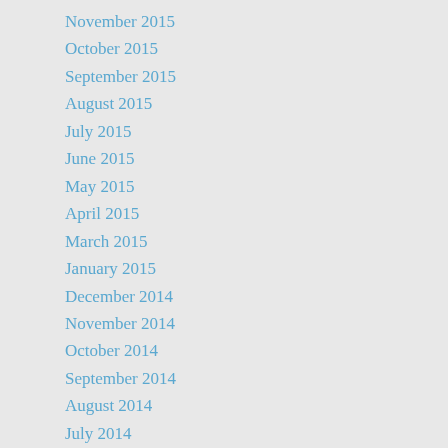November 2015
October 2015
September 2015
August 2015
July 2015
June 2015
May 2015
April 2015
March 2015
January 2015
December 2014
November 2014
October 2014
September 2014
August 2014
July 2014
June 2014
May 2014
April 2014
March 2014